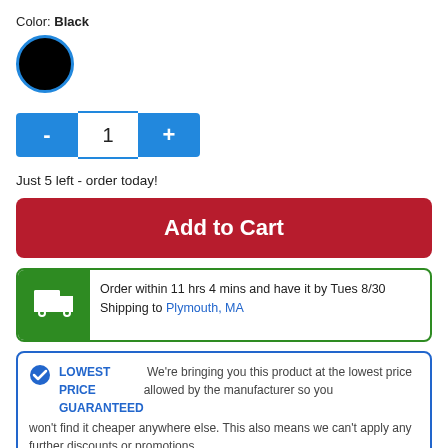Color: Black
[Figure (other): Black circular color swatch with blue border indicating selected color]
[Figure (other): Quantity selector with minus button, quantity input showing 1, and plus button, styled in blue]
Just 5 left - order today!
[Figure (other): Red Add to Cart button]
[Figure (other): Shipping info box with green truck icon: Order within 11 hrs 4 mins and have it by Tues 8/30. Shipping to Plymouth, MA]
LOWEST PRICE GUARANTEED We're bringing you this product at the lowest price allowed by the manufacturer so you won't find it cheaper anywhere else. This also means we can't apply any further discounts or promotions.